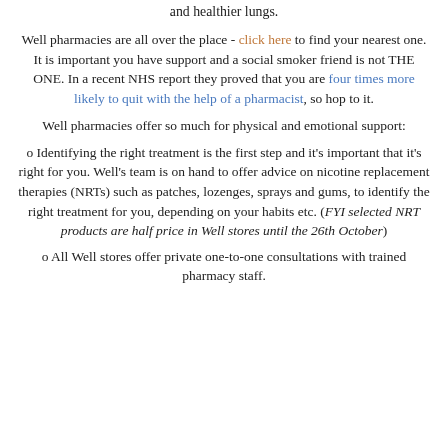and healthier lungs.
Well pharmacies are all over the place - click here to find your nearest one. It is important you have support and a social smoker friend is not THE ONE. In a recent NHS report they proved that you are four times more likely to quit with the help of a pharmacist, so hop to it.
Well pharmacies offer so much for physical and emotional support:
o Identifying the right treatment is the first step and it's important that it's right for you. Well's team is on hand to offer advice on nicotine replacement therapies (NRTs) such as patches, lozenges, sprays and gums, to identify the right treatment for you, depending on your habits etc. (FYI selected NRT products are half price in Well stores until the 26th October)
o All Well stores offer private one-to-one consultations with trained pharmacy staff.